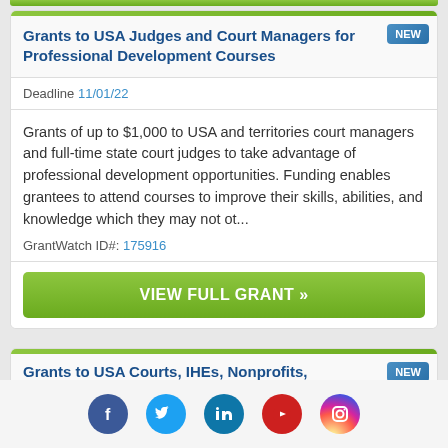Grants to USA Judges and Court Managers for Professional Development Courses
Deadline 11/01/22
Grants of up to $1,000 to USA and territories court managers and full-time state court judges to take advantage of professional development opportunities. Funding enables grantees to attend courses to improve their skills, abilities, and knowledge which they may not ot...
GrantWatch ID#: 175916
VIEW FULL GRANT »
Grants to USA Courts, IHEs, Nonprofits,
[Figure (infographic): Social media icons row: Facebook (blue circle), Twitter (light blue circle), LinkedIn (dark blue circle), YouTube (red circle), Instagram (gradient circle)]